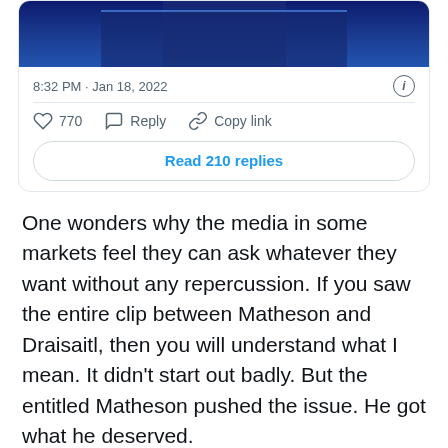[Figure (screenshot): Top portion of a tweet card showing a cropped video/image of a person in a dark suit on a blue background stage, with timestamp '8:32 PM · Jan 18, 2022', an info icon, a horizontal divider, action buttons (heart with 770, Reply, Copy link), and a 'Read 210 replies' button.]
One wonders why the media in some markets feel they can ask whatever they want without any repercussion. If you saw the entire clip between Matheson and Draisaitl, then you will understand what I mean. It didn't start out badly. But the entitled Matheson pushed the issue. He got what he deserved.
Share this: